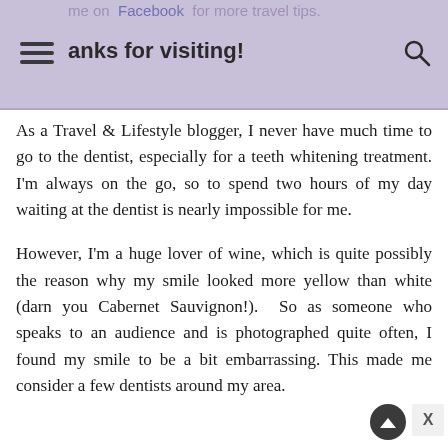me on Facebook for more travel tips. Thanks for visiting!
As a Travel & Lifestyle blogger, I never have much time to go to the dentist, especially for a teeth whitening treatment. I'm always on the go, so to spend two hours of my day waiting at the dentist is nearly impossible for me.
However, I'm a huge lover of wine, which is quite possibly the reason why my smile looked more yellow than white (darn you Cabernet Sauvignon!). So as someone who speaks to an audience and is photographed quite often, I found my smile to be a bit embarrassing. This made me consider a few dentists around my area.